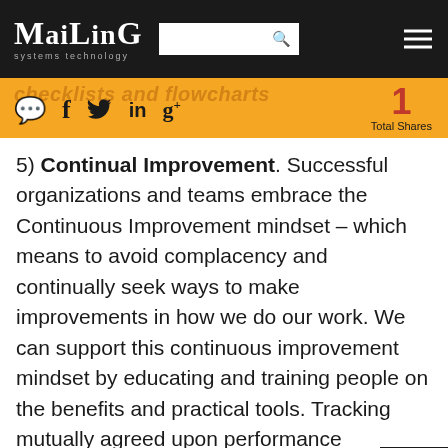Mailing Systems Technology — header with logo, search box, and menu icon
[Figure (infographic): Social share bar with icons: comment, facebook, twitter, linkedin, google+, and total shares count of 1]
5) Continual Improvement. Successful organizations and teams embrace the Continuous Improvement mindset – which means to avoid complacency and continually seek ways to make improvements in how we do our work. We can support this continuous improvement mindset by educating and training people on the benefits and practical tools. Tracking mutually agreed upon performance measures can help build accountability and provide the opportunity to celebrate and